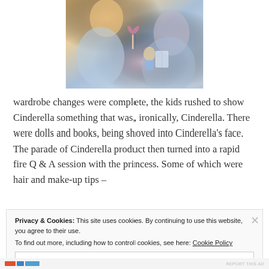[Figure (photo): Photo of a Cinderella character performer with children, showing a blonde woman in a blue dress interacting with a young girl who is holding a pink heart-shaped lollipop and a Cinderella doll/book.]
wardrobe changes were complete, the kids rushed to show Cinderella something that was, ironically, Cinderella.  There were dolls and books, being shoved into Cinderella's face.  The parade of Cinderella product then turned into a rapid fire Q & A session with the princess.  Some of which were hair and make-up tips –
Privacy & Cookies: This site uses cookies. By continuing to use this website, you agree to their use.
To find out more, including how to control cookies, see here: Cookie Policy
Close and accept